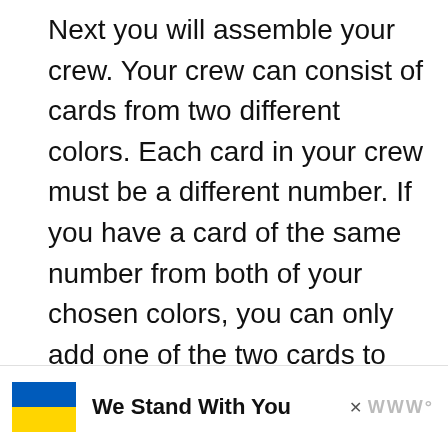Next you will assemble your crew. Your crew can consist of cards from two different colors. Each card in your crew must be a different number. If you have a card of the same number from both of your chosen colors, you can only add one of the two cards to your crew.
[Figure (screenshot): Grey rectangle placeholder image area with a green circular like button (heart icon), a white circular share button, and a 'WHAT'S NEXT' panel showing a thumbnail and 'Innovation Card Game...' text]
[Figure (infographic): Advertisement banner showing a Ukrainian flag (blue and yellow), bold text 'We Stand With You', an X close button, and a logo]